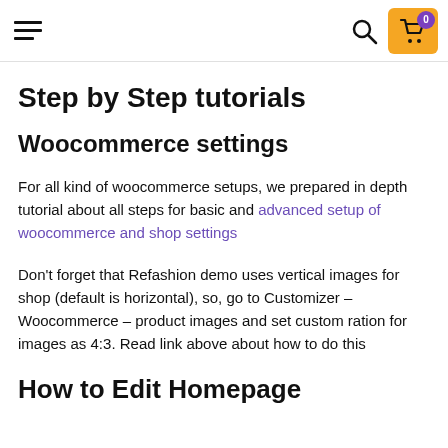☰ [search] [cart 0]
Step by Step tutorials
Woocommerce settings
For all kind of woocommerce setups, we prepared in depth tutorial about all steps for basic and advanced setup of woocommerce and shop settings
Don't forget that Refashion demo uses vertical images for shop (default is horizontal), so, go to Customizer – Woocommerce – product images and set custom ration for images as 4:3. Read link above about how to do this
How to Edit Homepage